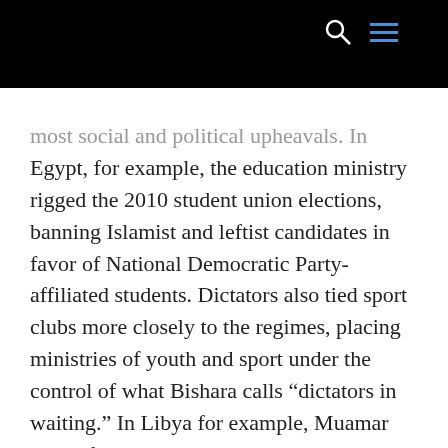[search and menu icons on black bar]
most social and political upheavals. In Egypt, for example, the education ministry rigged the 2010 student union elections, banning Islamist and leftist candidates in favor of National Democratic Party-affiliated students. Dictators also tied sport clubs more closely to the regimes, placing ministries of youth and sport under the control of what Bishara calls “dictators in waiting.” In Libya for example, Muamar Gaddafi’s government touted his son, Saadi Gadafi, as a national soccer star. The goal of this strategy was to establish new “softer layers of patronage and loyalties among youth while dissuading them from politics